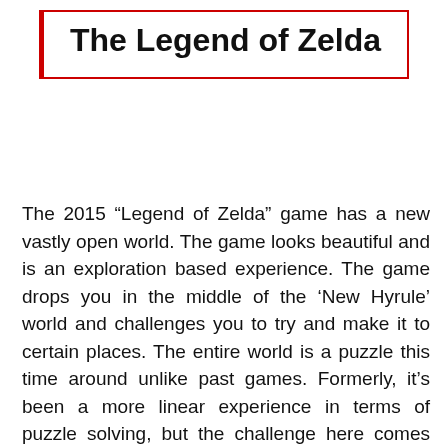The Legend of Zelda
The 2015 “Legend of Zelda” game has a new vastly open world. The game looks beautiful and is an exploration based experience. The game drops you in the middle of the ‘New Hyrule’ world and challenges you to try and make it to certain places. The entire world is a puzzle this time around unlike past games. Formerly, it’s been a more linear experience in terms of puzzle solving, but the challenge here comes from exploration and finding something here that works there. This is said to make this a gameplay experience different